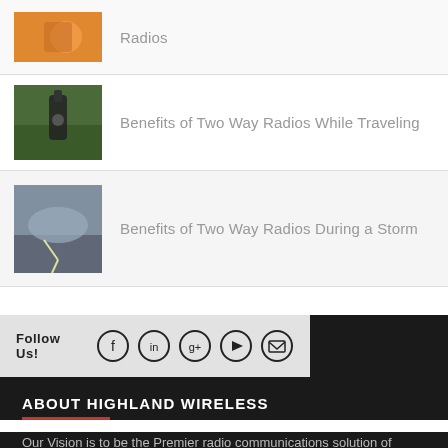Radios
Benefits of Two Way Radios While Traveling
Benefits of Two Way Radios During a Storm
Follow Us!
ABOUT HIGHLAND WIRELESS
Our Vision is to be the Premier radio communications solution of through the testimonies of our customers, our vendors, and our team.